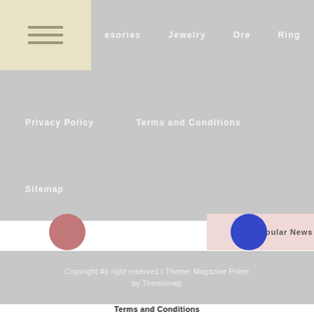[Figure (screenshot): Website navigation screenshot showing logo block with hamburger menu lines, nav links (esories, Jewelry, Ore, Ring), second row (Privacy Policy, Terms and Conditions), third row (Sitemap), popular news bar with pink background, red and blue circles, search icon, footer with copyright text, and Terms and Conditions title bar.]
esories
Jewelry
Ore
Ring
Privacy Policy
Terms and Conditions
Sitemap
Popular News
Copyright All right reserved | Theme: Magazine Prime by Themeinwp
Terms and Conditions